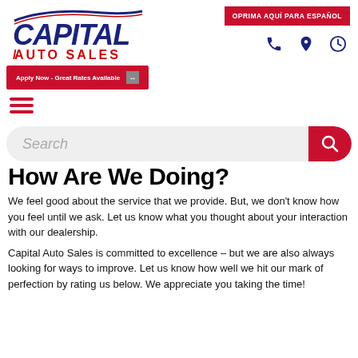[Figure (logo): Capital Auto Sales logo with blue italic CAPITAL text and red AUTO SALES text]
[Figure (infographic): Red button: OPRIMA AQUI PARA ESPANOL]
[Figure (infographic): Phone, location pin, and clock icons in dark blue]
[Figure (infographic): Red apply now banner: Apply Now - Great Rates Available]
[Figure (infographic): Hamburger menu icon (three red horizontal lines)]
[Figure (infographic): Search bar with magnifying glass icon on red background]
How Are We Doing?
We feel good about the service that we provide. But, we don't know how you feel until we ask. Let us know what you thought about your interaction with our dealership.
Capital Auto Sales is committed to excellence – but we are also always looking for ways to improve. Let us know how well we hit our mark of perfection by rating us below. We appreciate you taking the time!